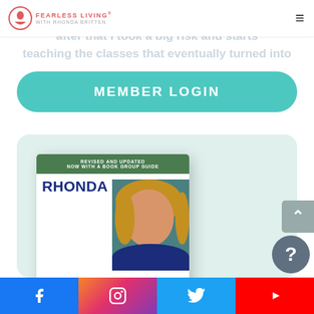Fearless Living with Rhonda Britten
after that I took a big risk and started teaching the classes that eventually turned into perfect bone structure might have you
MEMBER LOGIN
[Figure (photo): Book cover for 'Live Without Excuses and Love Without' by Rhonda Britten, revised and updated with book group guide, shown on a light teal background card]
Facebook | Instagram | Twitter | YouTube social media links